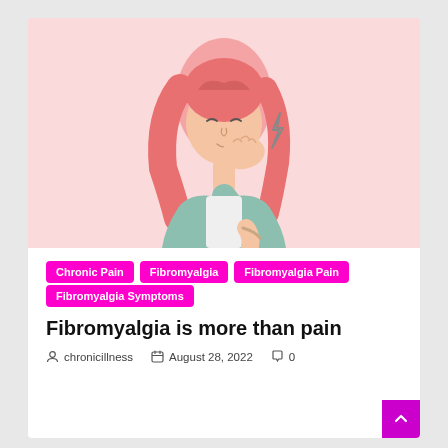[Figure (illustration): Illustration of a woman with pink/red hair wearing a teal shirt, holding her hand to her jaw/face in pain, with a lightning bolt symbol near her jaw indicating pain. Pink background.]
Chronic Pain
Fibromyalgia
Fibromyalgia Pain
Fibromyalgia Symptoms
Fibromyalgia is more than pain
chronicillness   August 28, 2022   0